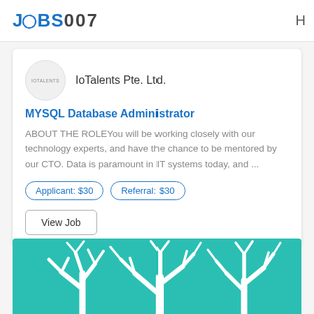JOBS007
[Figure (logo): IoTalents company logo — circular grey badge with 'IOTALENTS' text]
IoTalents Pte. Ltd.
MYSQL Database Administrator
ABOUT THE ROLEYou will be working closely with our technology experts, and have the chance to be mentored by our CTO. Data is paramount in IT systems today, and ...
Applicant: $30
Referral: $30
View Job
[Figure (illustration): Teal background with white tree branch silhouettes illustration]